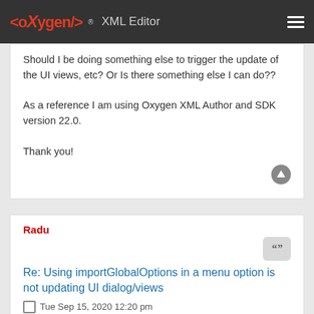<oxygen/> XML Editor
Should I be doing something else to trigger the update of the UI views, etc? Or Is there something else I can do??

As a reference I am using Oxygen XML Author and SDK version 22.0.

Thank you!
Radu
Re: Using importGlobalOptions in a menu option is not updating UI dialog/views
Tue Sep 15, 2020 12:20 pm
Hi,

Such a problem may occur if Oxygen does not have explicit